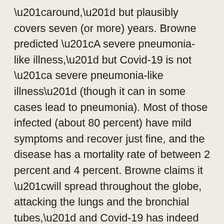“around,” but plausibly covers seven (or more) years. Browne predicted “A severe pneumonia-like illness,” but Covid-19 is not “a severe pneumonia-like illness” (though it can in some cases lead to pneumonia). Most of those infected (about 80 percent) have mild symptoms and recover just fine, and the disease has a mortality rate of between 2 percent and 4 percent. Browne claims it “will spread throughout the globe, attacking the lungs and the bronchial tubes,” and Covid-19 has indeed spread throughout the globe, but Browne also says the disease she’s describing “resists all known treatments.” This does not describe Covid-19; in fact, doctors know how to treat the disease—it’s essentially the same for influenza or other similar respiratory infections. This coronavirus is not “resisting” all (or any) known treatments.